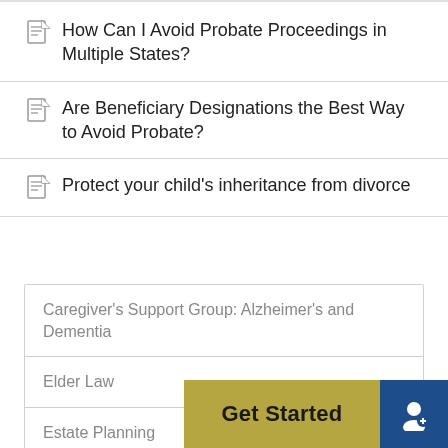How Can I Avoid Probate Proceedings in Multiple States?
Are Beneficiary Designations the Best Way to Avoid Probate?
Protect your child's inheritance from divorce
Caregiver's Support Group: Alzheimer's and Dementia
Elder Law
Estate Planning
Facebook Live
Get Started